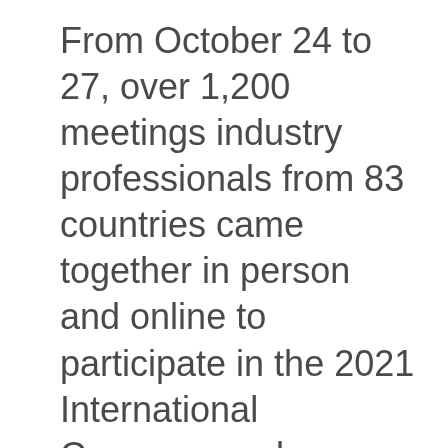From October 24 to 27, over 1,200 meetings industry professionals from 83 countries came together in person and online to participate in the 2021 International Congress and Convention Association (ICCA) World Congress. The city of Cartagena, Columbia served as the main host